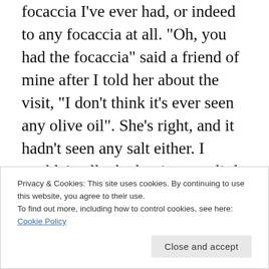focaccia I've ever had, or indeed to any focaccia at all. "Oh, you had the focaccia" said a friend of mine after I told her about the visit, "I don't think it's ever seen any olive oil". She's right, and it hadn't seen any salt either. I couldn't tell whether it was a little stale, or had been toasted, or had been toasted to conceal the fact that it was a little stale. I asked our waitress for some olive oil so we could at least dip the bread in it. She said yes, but it never turned up: by the time I realised it was never going to come I was
Privacy & Cookies: This site uses cookies. By continuing to use this website, you agree to their use.
To find out more, including how to control cookies, see here: Cookie Policy